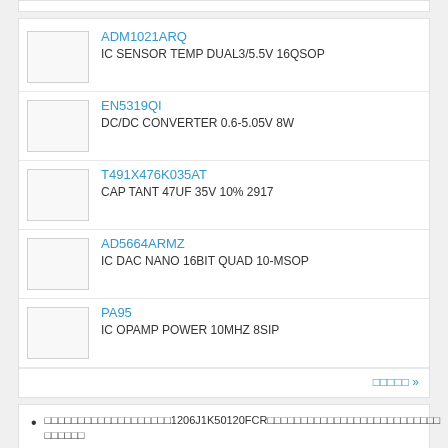ADM1021ARQ — IC SENSOR TEMP DUAL3/5.5V 16QSOP
EN5319QI — DC/DC CONVERTER 0.6-5.05V 8W
T491X476K035AT — CAP TANT 47UF 35V 10% 2917
AD5664ARMZ — IC DAC NANO 16BIT QUAD 10-MSOP
PA95 — IC OPAMP POWER 10MHZ 8SIP
□□□□□ »
□□□□□□□□□□□□□□□□□□□1206J1K50120FCR□□□□□□□□□□□□□□□□□□□□□□□□□ □□ □□□□□□
□□□□RFQ□□□□□□□□BOM□□□□1206J1K50120FCR □□□□□□□□□□
□□□□□□□□□1206J1K50120FCR□□□□□□□□□□□□□□